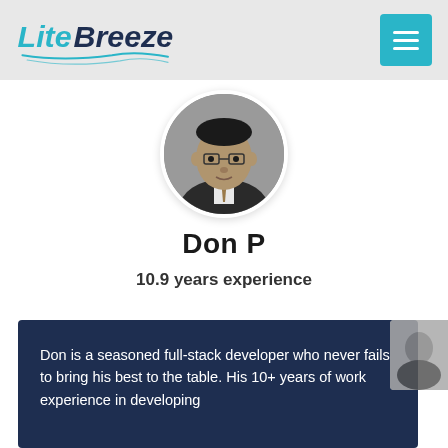LiteBreeze
[Figure (photo): Circular profile photo of Don P, a man wearing glasses and a suit with tie, black and white photo]
Don P
10.9 years experience
Don is a seasoned full-stack developer who never fails to bring his best to the table. His 10+ years of work experience in developing